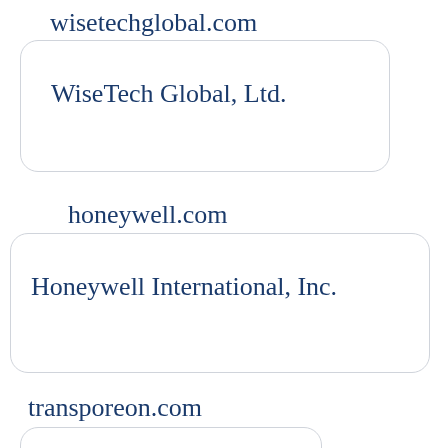wisetechglobal.com
WiseTech Global, Ltd.
honeywell.com
Honeywell International, Inc.
transporeon.com
Transporeon GmbH